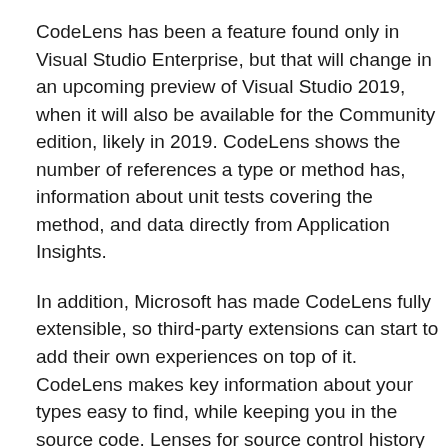CodeLens has been a feature found only in Visual Studio Enterprise, but that will change in an upcoming preview of Visual Studio 2019, when it will also be available for the Community edition, likely in 2019. CodeLens shows the number of references a type or method has, information about unit tests covering the method, and data directly from Application Insights.
In addition, Microsoft has made CodeLens fully extensible, so third-party extensions can start to add their own experiences on top of it. CodeLens makes key information about your types easy to find, while keeping you in the source code. Lenses for source control history and IntelliTrace are still an Enterprise-only feature.
Code Cleanup
It can sometimes be easy to overlook an error, warning or